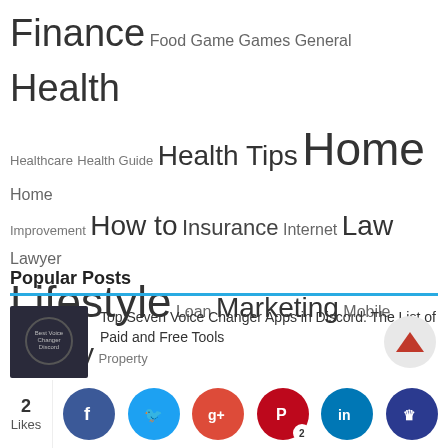Finance Food Game Games General Health Healthcare Health Guide Health Tips Home Home Improvement How to Insurance Internet Law Lawyer Lifestyle Loan Marketing Mobile Money Property Real Estate Security SEO SEO Tips Shopping Social Media Software Tech Technology Travel Traveling Travel Tips Writing
Popular Posts
Top Seven Voice Changer Apps in Discord: The List of Paid and Free Tools
10 Best Manga Apps for Android and iPhone